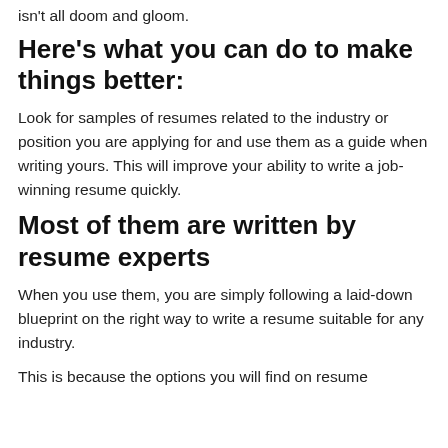isn't all doom and gloom.
Here's what you can do to make things better:
Look for samples of resumes related to the industry or position you are applying for and use them as a guide when writing yours. This will improve your ability to write a job-winning resume quickly.
Most of them are written by resume experts
When you use them, you are simply following a laid-down blueprint on the right way to write a resume suitable for any industry.
This is because the options you will find on resume